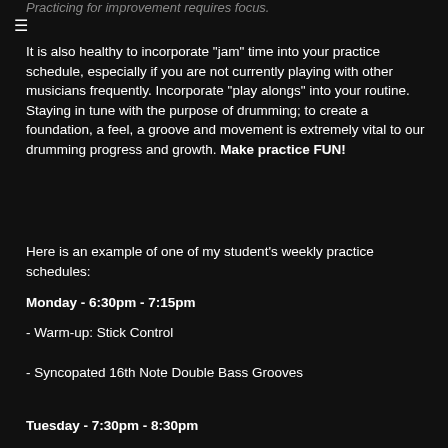Practicing for improvement requires focus.
It is also healthy to incorporate "jam" time into your practice schedule, especially if you are not currently playing with other musicians frequently. Incorporate "play alongs" into your routine. Staying in tune with the purpose of drumming; to create a foundation, a feel, a groove and movement is extremely vital to our drumming progress and growth. Make practice FUN!
Here is an example of one of my student's weekly practice schedules:
Monday - 6:30pm - 7:15pm
- Warm-up: Stick Control
- Syncopated 16th Note Double Bass Grooves
Tuesday - 7:30pm - 8:30pm